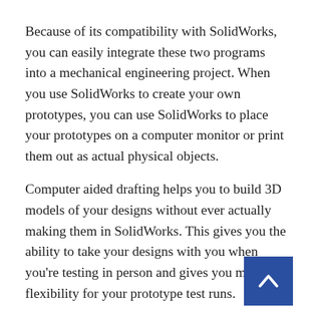Because of its compatibility with SolidWorks, you can easily integrate these two programs into a mechanical engineering project. When you use SolidWorks to create your own prototypes, you can use SolidWorks to place your prototypes on a computer monitor or print them out as actual physical objects.
Computer aided drafting helps you to build 3D models of your designs without ever actually making them in SolidWorks. This gives you the ability to take your designs with you when you're testing in person and gives you more flexibility for your prototype test runs.
Many engineers prefer to use SolidWorks software because it makes it easier to trace and